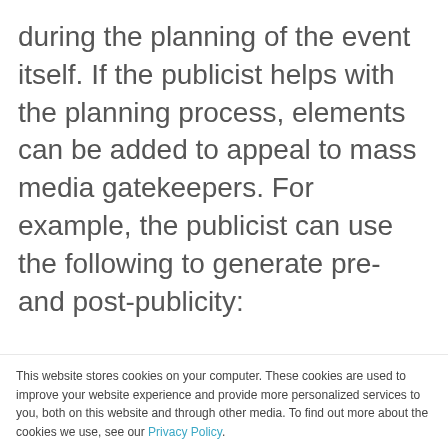during the planning of the event itself. If the publicist helps with the planning process, elements can be added to appeal to mass media gatekeepers. For example, the publicist can use the following to generate pre- and post-publicity:
Add a small, inexpensive...
This website stores cookies on your computer. These cookies are used to improve your website experience and provide more personalized services to you, both on this website and through other media. To find out more about the cookies we use, see our Privacy Policy.

Disclaimer: In order to comply with your preferences, we'll have to use just one cookie so that you're not asked to make this choice again.